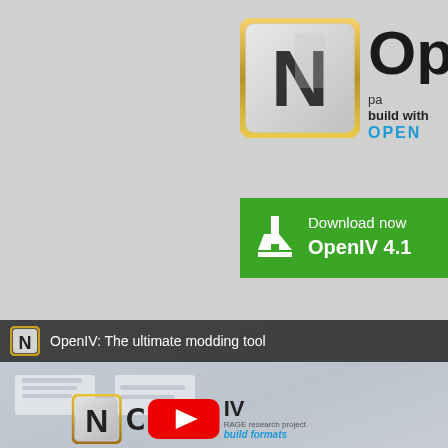[Figure (logo): OpenIV application logo - metallic silver square with golden border and black N letter, partially visible 'Op' text and 'build with OPEN' tagline]
[Figure (screenshot): Green download button with download icon, text 'Download now OpenIV 4.1']
[Figure (screenshot): Video player thumbnail showing 'OpenIV: The ultimate modding tool' with YouTube play button overlay and OpenIV logo at bottom]